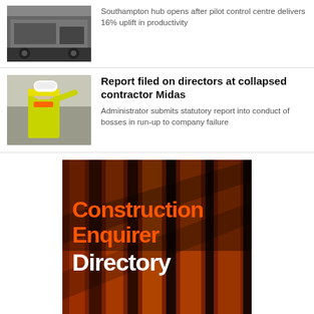[Figure (photo): Thumbnail of truck/logistics vehicle at Southampton hub]
Southampton hub opens after pilot control centre delivers 16% uplift in productivity
[Figure (photo): Worker in yellow Midas hi-vis vest pointing on a construction site]
Report filed on directors at collapsed contractor Midas
Administrator submits statutory report into conduct of bosses in run-up to company failure
[Figure (infographic): Construction Enquirer Directory advertisement with orange-toned building facade background, text: Construction Enquirer Directory, Stand out online]